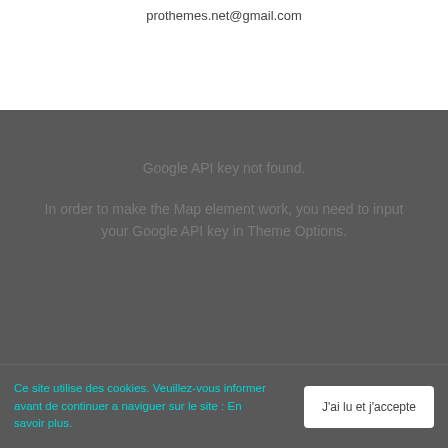prothemes.net@gmail.com
Google API key not found.
In order to make the Map element work, you need to input your Google API key in Theme Options.
Ce site utilise des cookies. Veuillez-vous informer avant de continuer a naviguer sur le site : En savoir plus.
J'ai lu et j'accepte